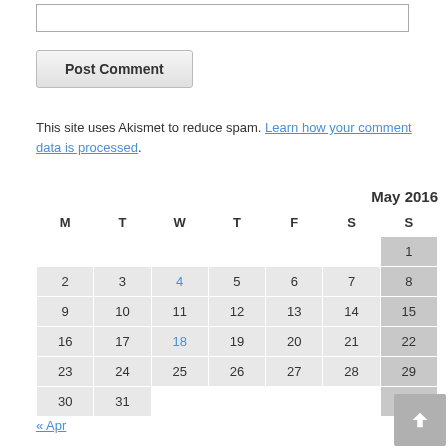Post Comment
This site uses Akismet to reduce spam. Learn how your comment data is processed.
| M | T | W | T | F | S | S |
| --- | --- | --- | --- | --- | --- | --- |
|  |  |  |  |  |  | 1 |
| 2 | 3 | 4 | 5 | 6 | 7 | 8 |
| 9 | 10 | 11 | 12 | 13 | 14 | 15 |
| 16 | 17 | 18 | 19 | 20 | 21 | 22 |
| 23 | 24 | 25 | 26 | 27 | 28 | 29 |
| 30 | 31 |  |  |  |  |  |
« Apr   Jun »